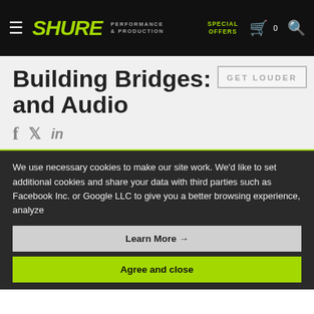SHURE PERFORMANCE & PRODUCTION — SPECIAL OFFERS — Cart 0 — Search
Building Bridges: IT and Audio
[Figure (other): GET LOUDER text box overlay]
[Figure (other): Social media icons: Facebook, Twitter, LinkedIn]
We use necessary cookies to make our site work. We'd like to set additional cookies and share your data with third parties such as Facebook Inc. or Google LLC to give you a better browsing experience, analyze
Learn More →
Agree and close